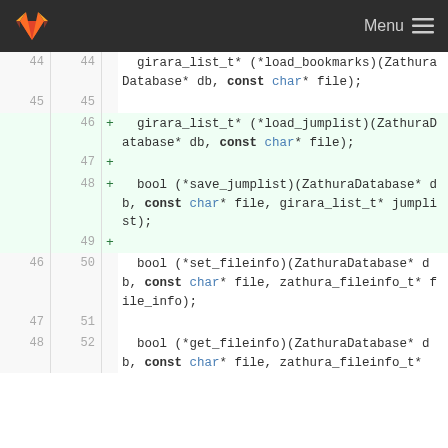GitLab — Menu
[Figure (screenshot): GitLab code diff view showing additions of load_jumplist and save_jumplist function pointers in a C header file. Lines 44-48 (old) and 44-52 (new) are shown, with lines 46-49 highlighted as additions (green background).]